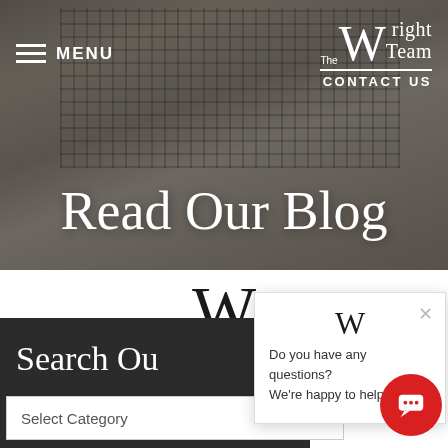[Figure (screenshot): Hero banner with photo of hands on laptop keyboard, dark overlay. Navigation bar with hamburger menu and MENU text on left, The Wright Team logo and CONTACT US on right.]
Read Our Blog
[Figure (screenshot): Large decorative W lettermark in dark color above chat popup and search section]
Search Ou
[Figure (screenshot): Chat popup widget with close X button and text: Do you have any questions? We're happy to help. Red circular chat button with chat icon in bottom right corner.]
Do you have any questions? We're happy to help.
Select Category